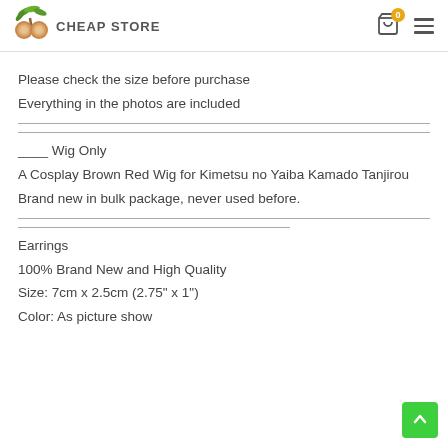CHEAP STORE
Please check the size before purchase
Everything in the photos are included
____ Wig Only
A Cosplay Brown Red Wig for Kimetsu no Yaiba Kamado Tanjirou
Brand new in bulk package, never used before.
Earrings
100% Brand New and High Quality
Size: 7cm x 2.5cm (2.75" x 1")
Color: As picture show